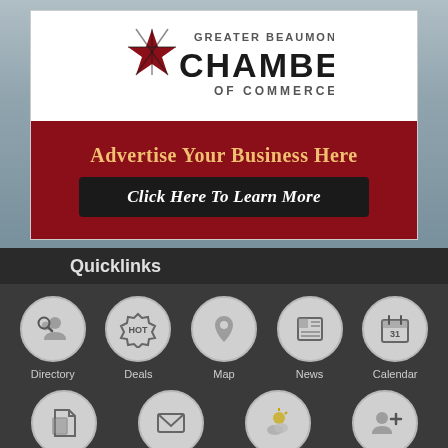[Figure (logo): Greater Beaumont Chamber of Commerce logo with star graphic]
Advertise Your Business Here
Click Here To Learn More
Quicklinks
[Figure (infographic): Quicklinks icons row 1: Directory (person with search), Deals (HOT badge), Map (location pin), News (newspaper), Calendar (calendar with 31)]
[Figure (infographic): Quicklinks icons row 2 (partial): Jobs (folder), Contact Us (envelope), Weather (sun/cloud), Join (person+)]